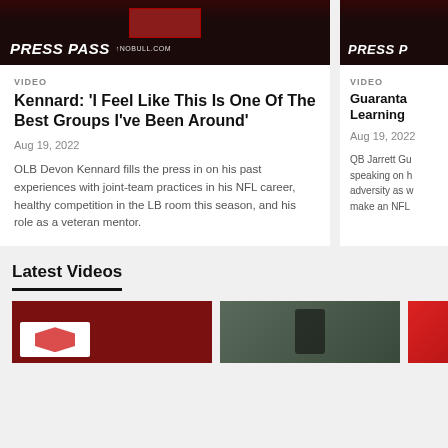[Figure (photo): Press Pass video thumbnail with dark background and PRESS PASS text overlay, NOBULL.COM branding]
VIDEO
Kennard: 'I Feel Like This Is One Of The Best Groups I've Been Around'
Aug 19, 2022
OLB Devon Kennard fills the press in on his past experiences with joint-team practices in his NFL career, healthy competition in the LB room this season, and his role as a veteran mentor.
[Figure (photo): Press Pass video thumbnail with dark background and PRESS P text visible (partially cropped)]
VIDEO
Guaranta Learning
Aug 19, 2022
QB Jarrett Gu speaking on h adversity as w make an NFL
Latest Videos
[Figure (photo): Latest Videos thumbnail 1 - red Cardinals branding]
[Figure (photo): Latest Videos thumbnail 2 - player throwing football on field]
[Figure (photo): Latest Videos thumbnail 3 - Cardinals logo/branding, partially visible]